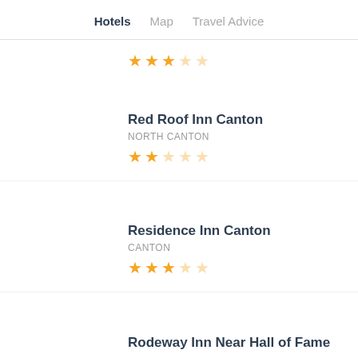Hotels | Map | Travel Advice
★★★★☆ (partial stars, top of page, cut off)
Red Roof Inn Canton
NORTH CANTON
★★☆☆☆ (2 out of 5 stars)
Residence Inn Canton
CANTON
★★★☆☆ (3 out of 5 stars)
Rodeway Inn Near Hall of Fame